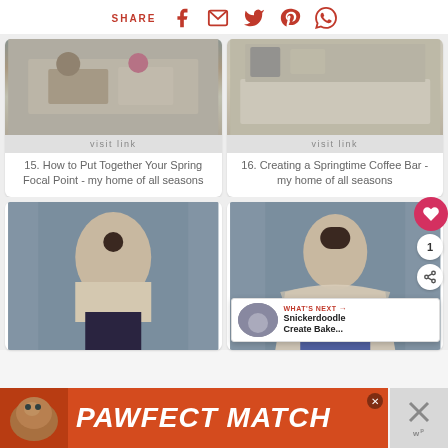SHARE [facebook] [email] [twitter] [pinterest] [whatsapp]
[Figure (photo): Spring focal point decor with rabbit figurine and flowers on a tray]
visit link
15. How to Put Together Your Spring Focal Point - my home of all seasons
[Figure (photo): Springtime coffee bar with black and white buffalo check tablecloth and decor]
visit link
16. Creating a Springtime Coffee Bar - my home of all seasons
[Figure (photo): Woman wearing a crochet crop top standing in front of blue barn doors]
[Figure (photo): Woman wearing a crochet poncho standing in front of blue barn doors]
[Figure (infographic): PAWFECT MATCH advertisement with cat photo on orange background]